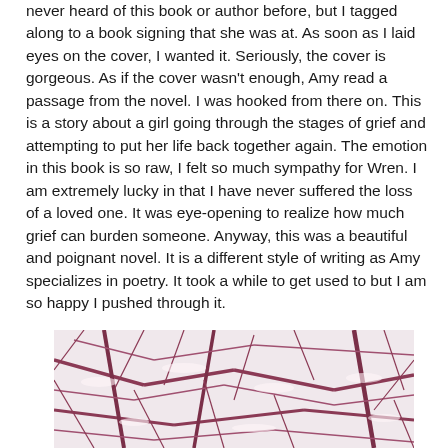never heard of this book or author before, but I tagged along to a book signing that she was at. As soon as I laid eyes on the cover, I wanted it. Seriously, the cover is gorgeous. As if the cover wasn't enough, Amy read a passage from the novel. I was hooked from there on. This is a story about a girl going through the stages of grief and attempting to put her life back together again. The emotion in this book is so raw, I felt so much sympathy for Wren. I am extremely lucky in that I have never suffered the loss of a loved one. It was eye-opening to realize how much grief can burden someone. Anyway, this was a beautiful and poignant novel. It is a different style of writing as Amy specializes in poetry. It took a while to get used to but I am so happy I pushed through it.
[Figure (photo): A close-up photograph of tree branches covered in snow, showing a tangle of dark reddish-brown bare branches with white snow against a light background.]